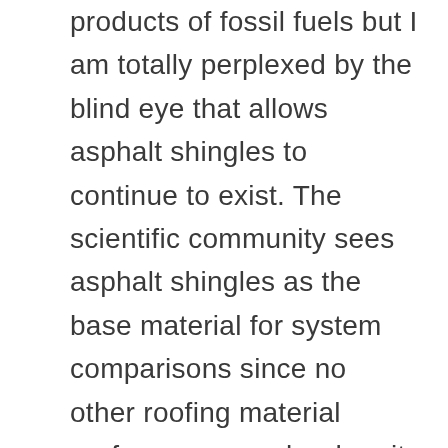products of fossil fuels but I am totally perplexed by the blind eye that allows asphalt shingles to continue to exist. The scientific community sees asphalt shingles as the base material for system comparisons since no other roofing material performs as poorly when it comes to energy efficiency, sustainability or resistance to severe weather. Worn out asphalt shingles contribute over eleven tons of nasty debris to our US landfills every year and efforts to recycle this material have been woefully